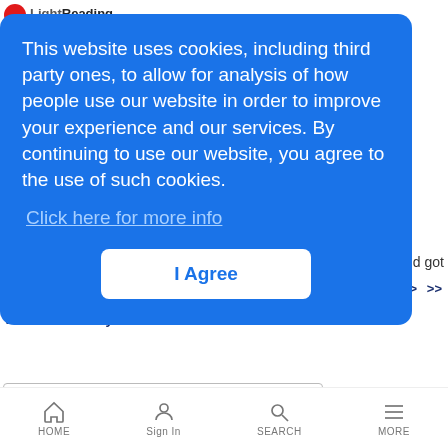LightReading
This website uses cookies, including third party ones, to allow for analysis of how people use our website in order to improve your experience and our services. By continuing to use our website, you agree to the use of such cookies.
Click here for more info
I Agree
nd got
ontinue
Page 1 / 3  >  >>
View Content By Month
HOME  Sign In  SEARCH  MORE